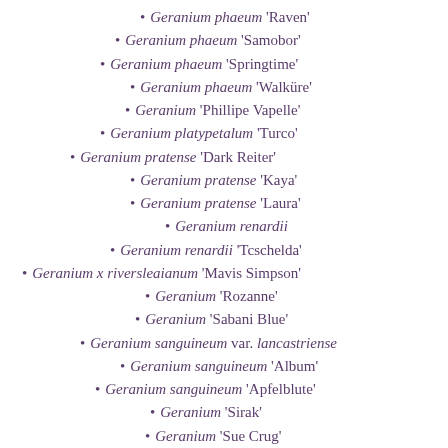Geranium phaeum 'Raven'
Geranium phaeum 'Samobor'
Geranium phaeum 'Springtime'
Geranium phaeum 'Walküre'
Geranium 'Phillipe Vapelle'
Geranium platypetalum 'Turco'
Geranium pratense 'Dark Reiter'
Geranium pratense 'Kaya'
Geranium pratense 'Laura'
Geranium renardii
Geranium renardii 'Tcschelda'
Geranium x riversleaianum 'Mavis Simpson'
Geranium 'Rozanne'
Geranium 'Sabani Blue'
Geranium sanguineum var. lancastriense
Geranium sanguineum 'Album'
Geranium sanguineum 'Apfelblute'
Geranium 'Sirak'
Geranium 'Sue Crug'
Geranium sylvaticum 'Birch Lilac'
Geranium wallichianum 'Buxtons Variety'